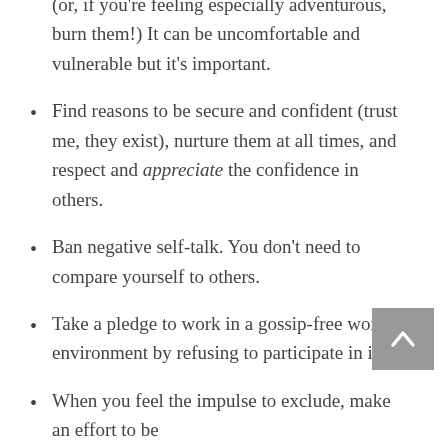(or, if you're feeling especially adventurous, burn them!) It can be uncomfortable and vulnerable but it's important.
Find reasons to be secure and confident (trust me, they exist), nurture them at all times, and respect and appreciate the confidence in others.
Ban negative self-talk. You don't need to compare yourself to others.
Take a pledge to work in a gossip-free work environment by refusing to participate in it.
When you feel the impulse to exclude, make an effort to be